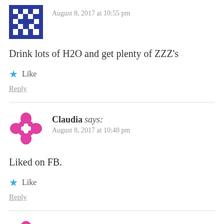[Figure (illustration): Blue pixelated avatar icon (house/building motif) at top left]
August 8, 2017 at 10:55 pm
Drink lots of H2O and get plenty of ZZZ's
★ Like
Reply
[Figure (illustration): Pink/magenta flower-like avatar icon for Claudia]
Claudia says:
August 8, 2017 at 10:48 pm
Liked on FB.
★ Like
Reply
[Figure (illustration): Pink/magenta flower-like avatar icon for Claudia (second comment)]
Claudia says:
August 8, 2017 at 10:47 pm